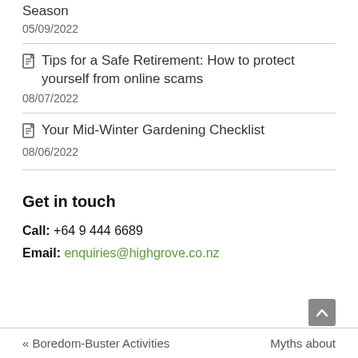Season
05/09/2022
Tips for a Safe Retirement: How to protect yourself from online scams
08/07/2022
Your Mid-Winter Gardening Checklist
08/06/2022
Get in touch
Call: +64 9 444 6689
Email: enquiries@highgrove.co.nz
« Boredom-Buster Activities   Myths about